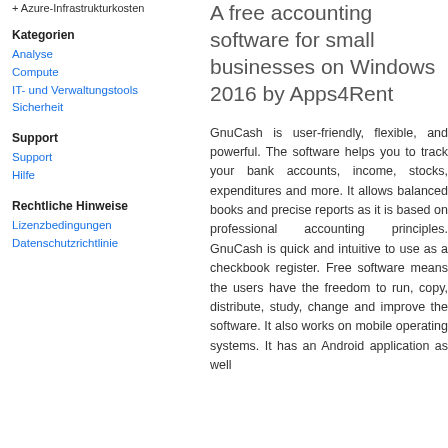+ Azure-Infrastrukturkosten
Kategorien
Analyse
Compute
IT- und Verwaltungstools
Sicherheit
Support
Support
Hilfe
Rechtliche Hinweise
Lizenzbedingungen
Datenschutzrichtlinie
A free accounting software for small businesses on Windows 2016 by Apps4Rent
GnuCash is user-friendly, flexible, and powerful. The software helps you to track your bank accounts, income, stocks, expenditures and more. It allows balanced books and precise reports as it is based on professional accounting principles. GnuCash is quick and intuitive to use as a checkbook register. Free software means the users have the freedom to run, copy, distribute, study, change and improve the software. It also works on mobile operating systems. It has an Android application as well